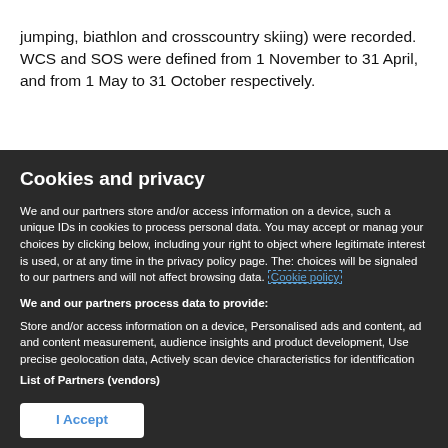jumping, biathlon and crosscountry skiing) were recorded. WCS and SOS were defined from 1 November to 31 April, and from 1 May to 31 October respectively.
Cookies and privacy
We and our partners store and/or access information on a device, such a unique IDs in cookies to process personal data. You may accept or manage your choices by clicking below, including your right to object where legitimate interest is used, or at any time in the privacy policy page. These choices will be signaled to our partners and will not affect browsing data. Cookie policy
We and our partners process data to provide:
Store and/or access information on a device, Personalised ads and content, ad and content measurement, audience insights and product development, Use precise geolocation data, Actively scan device characteristics for identification
List of Partners (vendors)